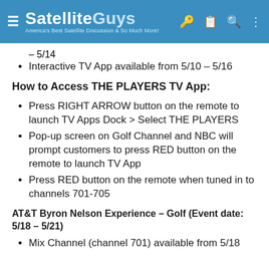SatelliteGuys — America's Best Satellite Discussion & So Much More!
– 5/14
Interactive TV App available from 5/10 – 5/16
How to Access THE PLAYERS TV App:
Press RIGHT ARROW button on the remote to launch TV Apps Dock > Select THE PLAYERS
Pop-up screen on Golf Channel and NBC will prompt customers to press RED button on the remote to launch TV App
Press RED button on the remote when tuned in to channels 701-705
AT&T Byron Nelson Experience – Golf (Event date: 5/18 – 5/21)
Mix Channel (channel 701) available from 5/18